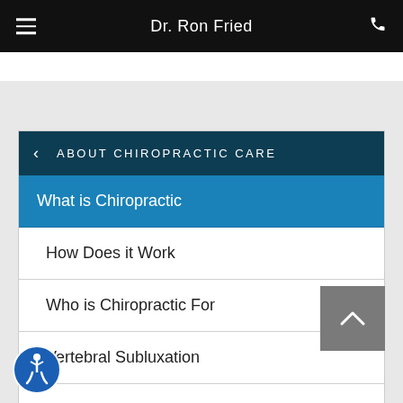Dr. Ron Fried
ABOUT CHIROPRACTIC CARE
What is Chiropractic
How Does it Work
Who is Chiropractic For
Vertebral Subluxation
Wellness Resources